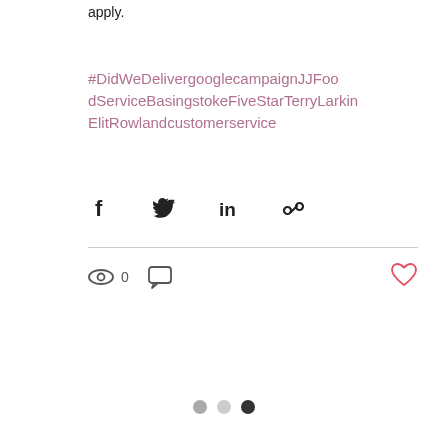apply.
#DidWeDelivergooglecampaignJJFoodServiceBasingstokeFiveStarTerryLarkinElitRowlandcustomerservice
[Figure (infographic): Social share icons: Facebook, Twitter, LinkedIn, link/chain icon]
[Figure (infographic): Post stats bar: eye/views icon showing 0 views, comment bubble icon, heart/like icon in red]
[Figure (infographic): Carousel pagination dots: grey dot, light grey dot, dark/black dot]